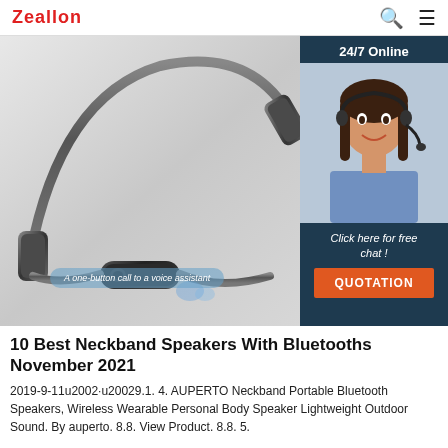Zealon
[Figure (photo): Neckband Bluetooth headphones on a light gray background with a bubble callout reading 'A one-button call to a voice assistant'. Right side panel shows a customer service agent with text '24/7 Online', 'Click here for free chat!', and an orange QUOTATION button.]
10 Best Neckband Speakers With Bluetooths November 2021
2019-9-11u2002·u20029.1. 4. AUPERTO Neckband Portable Bluetooth Speakers, Wireless Wearable Personal Body Speaker Lightweight Outdoor Sound. By auperto. 8.8. View Product. 8.8. 5.